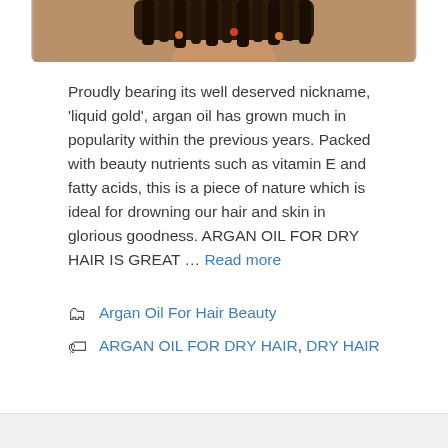[Figure (photo): Top portion of a woman with braided hair, cropped at the neck, against a white background within a bordered image frame]
Proudly bearing its well deserved nickname, ‘liquid gold’, argan oil has grown much in popularity within the previous years. Packed with beauty nutrients such as vitamin E and fatty acids, this is a piece of nature which is ideal for drowning our hair and skin in glorious goodness. ARGAN OIL FOR DRY HAIR IS GREAT … Read more
Argan Oil For Hair Beauty
ARGAN OIL FOR DRY HAIR, DRY HAIR